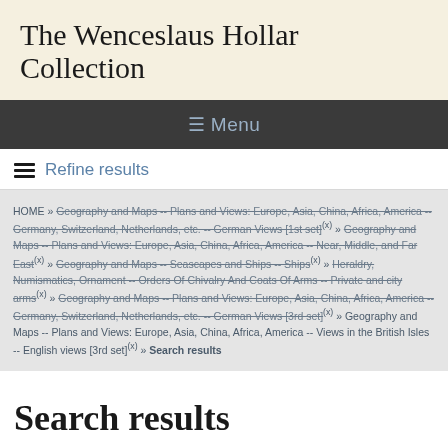The Wenceslaus Hollar Collection
≡ Menu
Refine results
HOME » Geography and Maps -- Plans and Views: Europe, Asia, China, Africa, America -- Germany, Switzerland, Netherlands, etc. -- German Views [1st set](x) » Geography and Maps -- Plans and Views: Europe, Asia, China, Africa, America -- Near, Middle, and Far East(x) » Geography and Maps -- Seascapes and Ships -- Ships(x) » Heraldry, Numismatics, Ornament -- Orders Of Chivalry And Coats Of Arms -- Private and city arms(x) » Geography and Maps -- Plans and Views: Europe, Asia, China, Africa, America -- Germany, Switzerland, Netherlands, etc. -- German Views [3rd set](x) » Geography and Maps -- Plans and Views: Europe, Asia, China, Africa, America -- Views in the British Isles -- English views [3rd set](x) » Search results
Search results